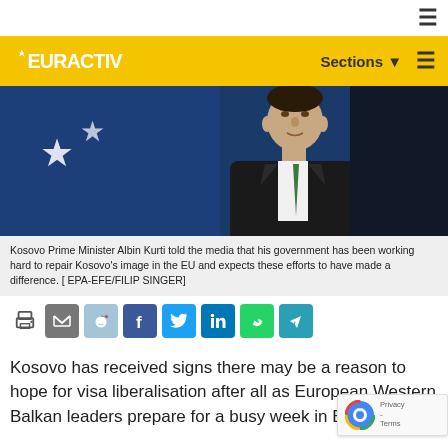≡
[Figure (logo): EURACTIV logo on yellow header bar with Sections dropdown and hamburger menu]
[Figure (photo): Kosovo Prime Minister Albin Kurti standing in front of a blue EU/Kosovo flag with stars]
Kosovo Prime Minister Albin Kurti told the media that his government has been working hard to repair Kosovo's image in the EU and expects these efforts to have made a difference. [ EPA-EFE/FILIP SINGER]
[Figure (infographic): Social share icons: print, email, reddit, facebook, twitter, linkedin, whatsapp, telegram]
Kosovo has received signs there may be a reason to hope for visa liberalisation after all as European Western Balkan leaders prepare for a busy week in Brussels.